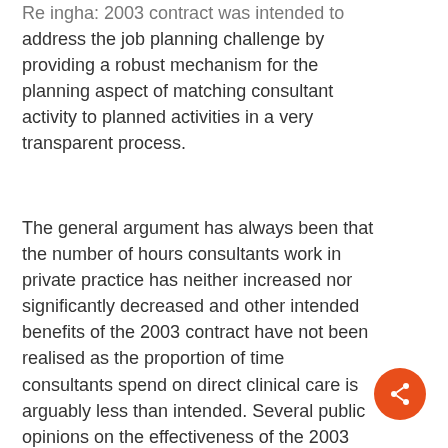Re ingha: 2003 contract was intended to address the job planning challenge by providing a robust mechanism for the planning aspect of matching consultant activity to planned activities in a very transparent process.
The general argument has always been that the number of hours consultants work in private practice has neither increased nor significantly decreased and other intended benefits of the 2003 contract have not been realised as the proportion of time consultants spend on direct clinical care is arguably less than intended. Several public opinions on the effectiveness of the 2003 contract all seem to conclude that the contract has not been used to extend and develop new services for patients as planned.